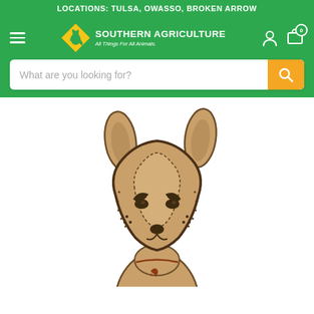LOCATIONS: TULSA, OWASSO, BROKEN ARROW
[Figure (logo): Southern Agriculture logo with kangaroo diamond and text 'All Things For All Animals.']
What are you looking for?
[Figure (photo): A fox-shaped leather stuffed dog toy with stitched details, pointy ears, stylized face with brow marks and nose, and a small emblem on the body. Tan/beige suede leather with dark brown outlines and stitching.]